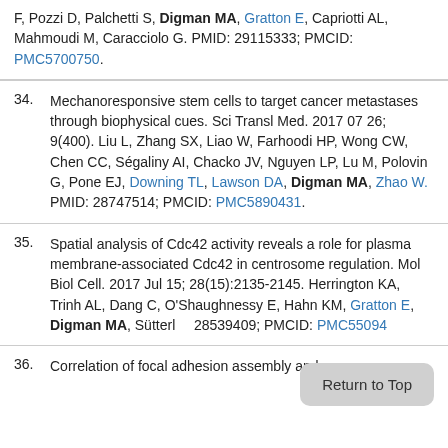F, Pozzi D, Palchetti S, Digman MA, Gratton E, Capriotti AL, Mahmoudi M, Caracciolo G. PMID: 29115333; PMCID: PMC5700750.
34. Mechanoresponsive stem cells to target cancer metastases through biophysical cues. Sci Transl Med. 2017 07 26; 9(400). Liu L, Zhang SX, Liao W, Farhoodi HP, Wong CW, Chen CC, Ségaliny AI, Chacko JV, Nguyen LP, Lu M, Polovin G, Pone EJ, Downing TL, Lawson DA, Digman MA, Zhao W. PMID: 28747514; PMCID: PMC5890431.
35. Spatial analysis of Cdc42 activity reveals a role for plasma membrane-associated Cdc42 in centrosome regulation. Mol Biol Cell. 2017 Jul 15; 28(15):2135-2145. Herrington KA, Trinh AL, Dang C, O'Shaughnessy E, Hahn KM, Gratton E, Digman MA, Sütterlin... 28539409; PMCID: PMC55094...
36. Correlation of focal adhesion assembly and